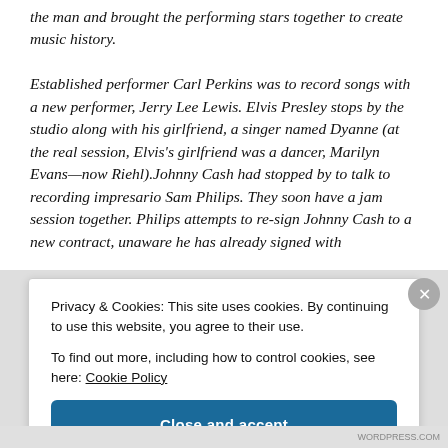the man and brought the performing stars together to create music history. Established performer Carl Perkins was to record songs with a new performer, Jerry Lee Lewis. Elvis Presley stops by the studio along with his girlfriend, a singer named Dyanne (at the real session, Elvis's girlfriend was a dancer, Marilyn Evans—now Riehl).Johnny Cash had stopped by to talk to recording impresario Sam Philips. They soon have a jam session together. Philips attempts to re-sign Johnny Cash to a new contract, unaware he has already signed with
Privacy & Cookies: This site uses cookies. By continuing to use this website, you agree to their use.
To find out more, including how to control cookies, see here: Cookie Policy
Close and accept